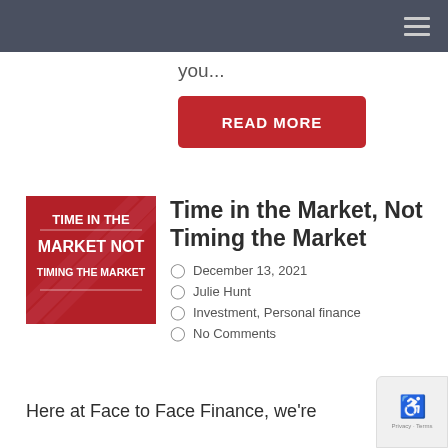you...
READ MORE
[Figure (illustration): Red square book cover with white text reading: TIME IN THE MARKET NOT TIMING THE MARKET]
Time in the Market, Not Timing the Market
December 13, 2021
Julie Hunt
Investment, Personal finance
No Comments
Here at Face to Face Finance, we're